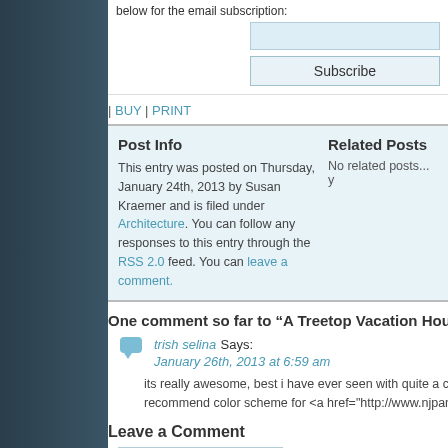below for the email subscription:
Subscribe
| BUY | PRINT
Post Info
This entry was posted on Thursday, January 24th, 2013 by Susan Kraemer and is filed under Architecture. You can follow any responses to this entry through the RSS 2.0 feed. You can leave a comment.
Related Posts
No related posts... y
One comment so far to “A Treetop Vacation House in the Tropical R
trish selina Says: January 26th, 2013 at 6:59 am
its really awesome, best i have ever seen with quite a combination of c recommend color scheme for <a href="http://www.njpandakitchen.com
Leave a Comment
Name (required)